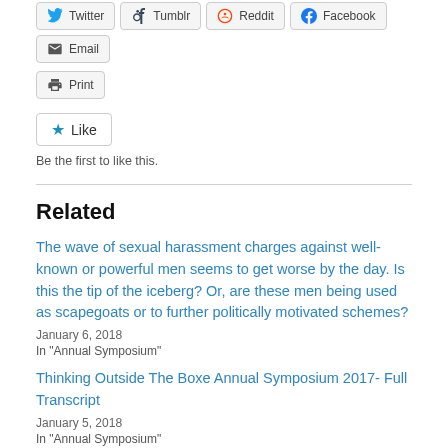[Figure (screenshot): Social share buttons row: Twitter, Tumblr, Reddit, Facebook, Email]
[Figure (screenshot): Print button]
[Figure (screenshot): Like button (star icon, blue)]
Be the first to like this.
Related
The wave of sexual harassment charges against well-known or powerful men seems to get worse by the day. Is this the tip of the iceberg? Or, are these men being used as scapegoats or to further politically motivated schemes?
January 6, 2018
In "Annual Symposium"
Thinking Outside The Boxe Annual Symposium 2017- Full Transcript
January 5, 2018
In "Annual Symposium"
8 Solutions to the Dysfunctional Political System in America